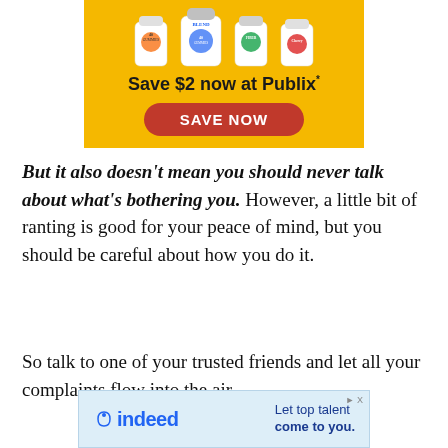[Figure (other): Advertisement banner with yellow background showing supplement gummy product bottles and 'Save $2 now at Publix*' text with a red 'SAVE NOW' button]
But it also doesn't mean you should never talk about what's bothering you. However, a little bit of ranting is good for your peace of mind, but you should be careful about how you do it.
So talk to one of your trusted friends and let all your complaints flow into the air.
[Figure (other): Indeed.com advertisement banner: 'Let top talent come to you.']